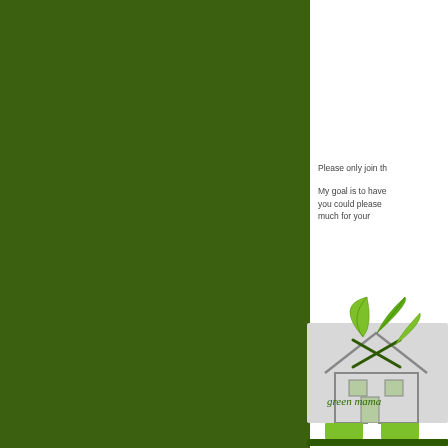[Figure (illustration): Large dark green rectangular panel covering the left ~69% of the page]
Please only join th
My goal is to have you could please much for your
[Figure (logo): Green Mama logo with house outline, two green leaves sprouting from crossed pencils, text 'green mama' in cursive, and green brick-like base. Partially visible on the right side of the page.]